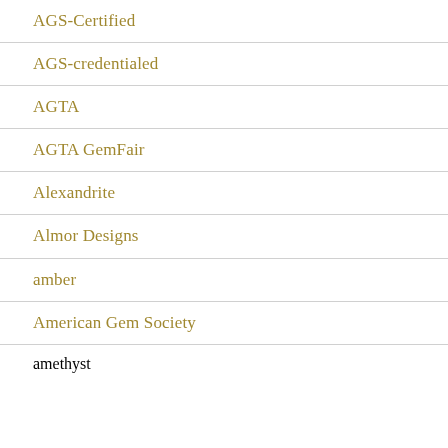AGS-Certified
AGS-credentialed
AGTA
AGTA GemFair
Alexandrite
Almor Designs
amber
American Gem Society
amethyst